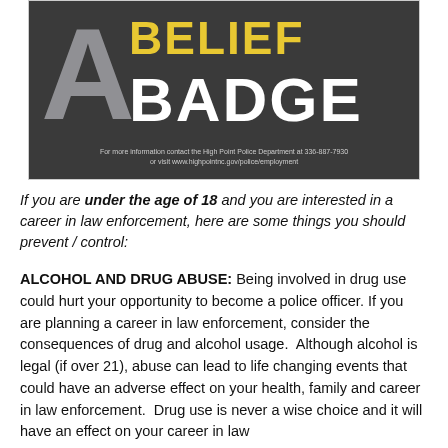[Figure (photo): Police recruitment advertisement poster showing large letter 'A' in gray, 'BELIEF' in yellow, 'BADGE' in white bold text, on dark background. Contact info: High Point Police Department at 336-887-7930 or www.highpointnc.gov/police/employment]
If you are under the age of 18 and you are interested in a career in law enforcement, here are some things you should prevent / control:
ALCOHOL AND DRUG ABUSE: Being involved in drug use could hurt your opportunity to become a police officer. If you are planning a career in law enforcement, consider the consequences of drug and alcohol usage. Although alcohol is legal (if over 21), abuse can lead to life changing events that could have an adverse effect on your health, family and career in law enforcement. Drug use is never a wise choice and it will have an effect on your career in law